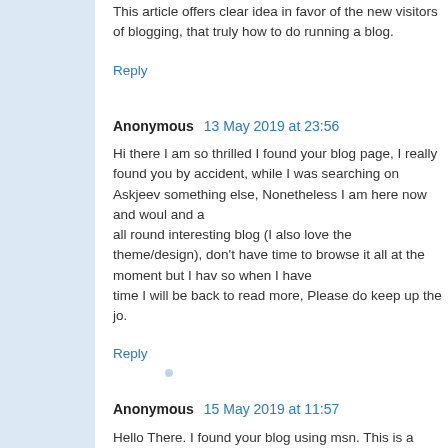This article offers clear idea in favor of the new visitors of blogging, that truly how to do running a blog.
Reply
Anonymous  13 May 2019 at 23:56
Hi there I am so thrilled I found your blog page, I really found you by accident, while I was searching on Askjeev something else, Nonetheless I am here now and woul and a all round interesting blog (I also love the theme/design), don't have time to browse it all at the moment but I hav so when I have time I will be back to read more, Please do keep up the jo.
Reply
Anonymous  15 May 2019 at 11:57
Hello There. I found your blog using msn. This is a very I will make sure to bookmark it and come back to read m